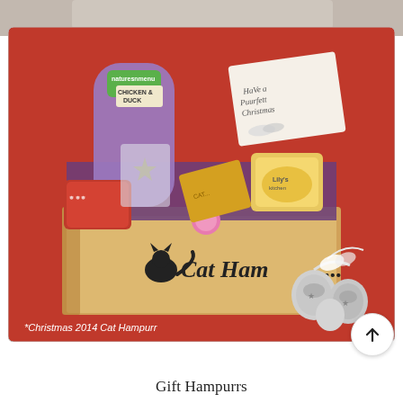[Figure (photo): A Christmas 2014 Cat Hampurr gift box displayed on a red background, filled with cat treats, toys, a greeting card reading 'Have a Puurfect Christmas', Lily's kitchen cat food, and decorated with silver jingle bells. The brown cardboard box is branded 'Cat Hamper'. A caption at the bottom of the photo reads '*Christmas 2014 Cat Hampurr'.]
Gift Hampurrs